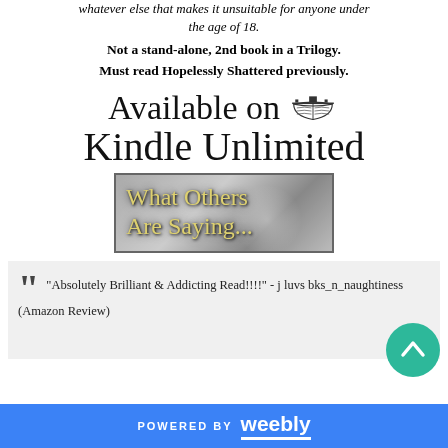whatever else that makes it unsuitable for anyone under the age of 18.
Not a stand-alone, 2nd book in a Trilogy. Must read Hopelessly Shattered previously.
[Figure (illustration): Decorative script text reading 'Available on Kindle Unlimited' with a small book/Kindle icon illustration]
[Figure (illustration): Banner image with script text reading 'What Others Are Saying...' on a gray bokeh background]
“Absolutely Brilliant & Addicting Read!!!!” - j luvs bks_n_naughtiness (Amazon Review)
POWERED BY weebly